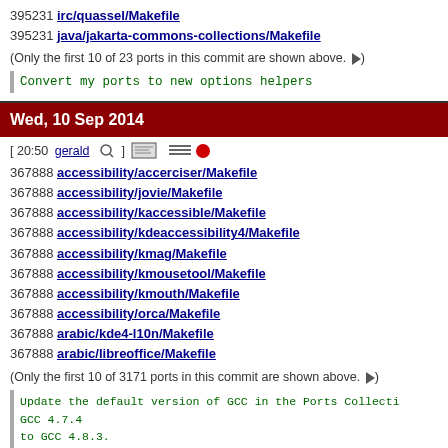395231 irc/quassel/Makefile
395231 java/jakarta-commons-collections/Makefile
(Only the first 10 of 23 ports in this commit are shown above. ▶)
Convert my ports to new options helpers
Wed, 10 Sep 2014
[ 20:50 gerald 🔍 ]  [icons]
367888 accessibility/accerciser/Makefile
367888 accessibility/jovie/Makefile
367888 accessibility/kaccessible/Makefile
367888 accessibility/kdeaccessibility4/Makefile
367888 accessibility/kmag/Makefile
367888 accessibility/kmousetool/Makefile
367888 accessibility/kmouth/Makefile
367888 accessibility/orca/Makefile
367888 arabic/kde4-l10n/Makefile
367888 arabic/libreoffice/Makefile
(Only the first 10 of 3171 ports in this commit are shown above. ▶)
Update the default version of GCC in the Ports Collecti…
GCC 4.7.4
to GCC 4.8.3.